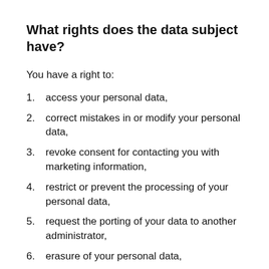What rights does the data subject have?
You have a right to:
access your personal data,
correct mistakes in or modify your personal data,
revoke consent for contacting you with marketing information,
restrict or prevent the processing of your personal data,
request the porting of your data to another administrator,
erasure of your personal data,